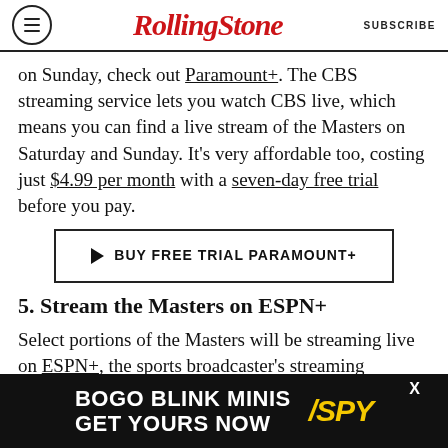RollingStone | SUBSCRIBE
on Sunday, check out Paramount+. The CBS streaming service lets you watch CBS live, which means you can find a live stream of the Masters on Saturday and Sunday. It's very affordable too, costing just $4.99 per month with a seven-day free trial before you pay.
[Figure (other): Call-to-action button with play arrow icon and text: BUY FREE TRIAL PARAMOUNT+]
5. Stream the Masters on ESPN+
Select portions of the Masters will be streaming live on ESPN+, the sports broadcaster's streaming platform. Bringing featured groups and
[Figure (other): Advertisement banner: BOGO BLINK MINIS GET YOURS NOW with SPY logo in yellow]